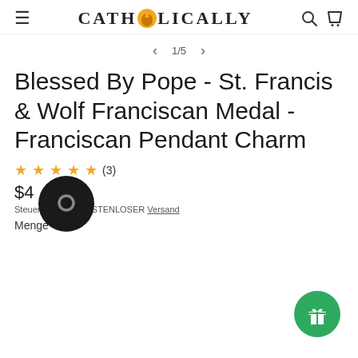CATHOLICALLY
1/5
Blessed By Pope - St. Francis & Wolf Franciscan Medal - Franciscan Pendant Charm
★★★★★ (3)
$4[obscured]D
Steuer[obscured]ive. KOSTENLOSER Versand
Menge